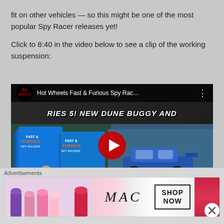fit on other vehicles — so this might be one of the most popular Spy Racer releases yet!
Click to 8:40 in the video below to see a clip of the working suspension:
[Figure (screenshot): YouTube video embed showing Hot Wheels Fast & Furious Spy Racers Series 5 video thumbnail with toy car packages and blue die-cast cars visible, red play button in center]
Advertisements
[Figure (photo): MAC Cosmetics advertisement banner with lipsticks on left, MAC logo in center, and SHOP NOW box with red lipstick on right]